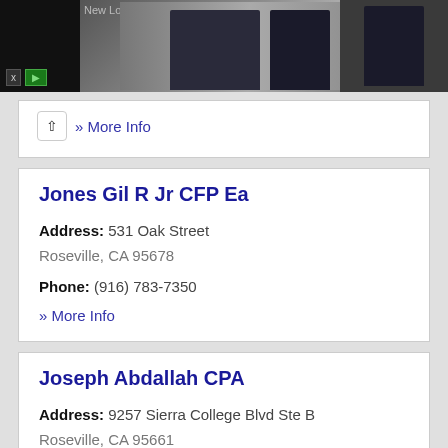[Figure (photo): Advertisement banner showing formalwear/tuxedos with 'New Lower Prices' text and navigation controls]
» More Info
Jones Gil R Jr CFP Ea
Address: 531 Oak Street
Roseville, CA 95678
Phone: (916) 783-7350
» More Info
Joseph Abdallah CPA
Address: 9257 Sierra College Blvd Ste B
Roseville, CA 95661
Phone: (916) 791-3120